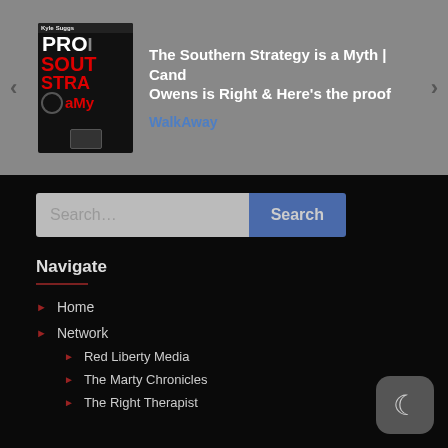[Figure (screenshot): Video thumbnail showing 'The Southern Strategy is a Myth' book/video cover with red and black design]
The Southern Strategy is a Myth | Candace Owens is Right & Here's the proof
WalkAway
[Figure (other): Search bar with text input field and blue Search button]
Navigate
Home
Network
Red Liberty Media
The Marty Chronicles
The Right Therapist